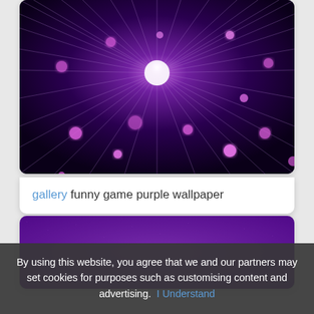[Figure (photo): Purple abstract light burst with glowing pink bokeh dots on dark background, fiber optic or starburst effect]
gallery funny game purple wallpaper
[Figure (photo): Purple textured wallpaper with grainy dark purple surface]
By using this website, you agree that we and our partners may set cookies for purposes such as customising content and advertising. I Understand